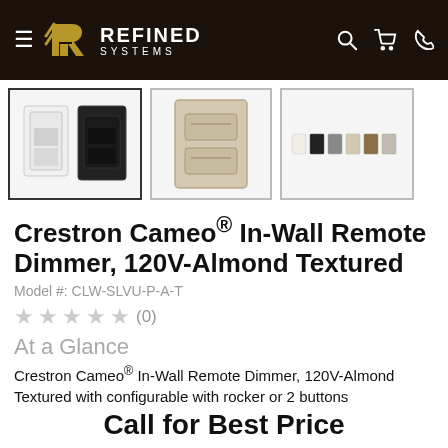Refined Systems
[Figure (photo): Product thumbnail 1: Two wall dimmer switches, one white and one black]
[Figure (photo): Product thumbnail 2: Almond/beige colored wall dimmer switch with two buttons]
[Figure (photo): Product thumbnail 3: Color swatches for various finish options]
Crestron Cameo® In-Wall Remote Dimmer, 120V-Almond Textured
Model #: CLW-SLVU-P-A-T
★★★★★ (0)
At a Glance
Crestron Cameo® In-Wall Remote Dimmer, 120V-Almond Textured with configurable with rocker or 2 buttons
Call for Best Price